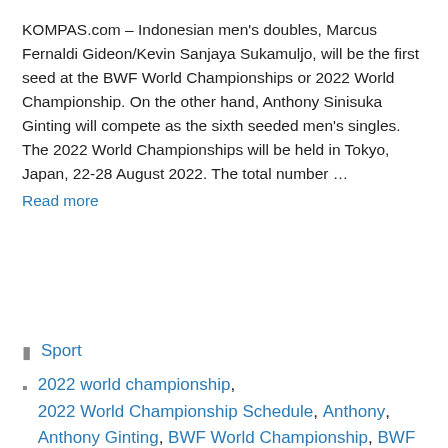KOMPAS.com – Indonesian men's doubles, Marcus Fernaldi Gideon/Kevin Sanjaya Sukamuljo, will be the first seed at the BWF World Championships or 2022 World Championship. On the other hand, Anthony Sinisuka Ginting will compete as the sixth seeded men's singles. The 2022 World Championships will be held in Tokyo, Japan, 22-28 August 2022. The total number … Read more
Sport
2022 world championship, 2022 World Championship Schedule, Anthony, Anthony Ginting, BWF World Championship, BWF